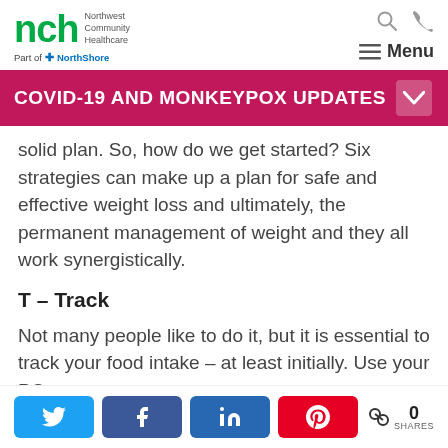nch Northwest Community Healthcare Part of NorthShore
COVID-19 AND MONKEYPOX UPDATES
solid plan. So, how do we get started? Six strategies can make up a plan for safe and effective weight loss and ultimately, the permanent management of weight and they all work synergistically.
T – Track
Not many people like to do it, but it is essential to track your food intake – at least initially. Use your PC or an app on your